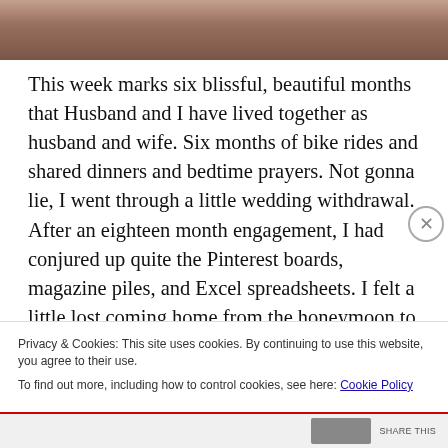[Figure (photo): Partial photo of a person, cropped at the top of the page showing skin tones in warm brown hues]
This week marks six blissful, beautiful months that Husband and I have lived together as husband and wife. Six months of bike rides and shared dinners and bedtime prayers. Not gonna lie, I went through a little wedding withdrawal. After an eighteen month engagement, I had conjured up quite the Pinterest boards, magazine piles, and Excel spreadsheets. I felt a little lost coming home from the honeymoon to boxes of used votives and a filled-in guestbook.
Privacy & Cookies: This site uses cookies. By continuing to use this website, you agree to their use.
To find out more, including how to control cookies, see here: Cookie Policy
Close and accept